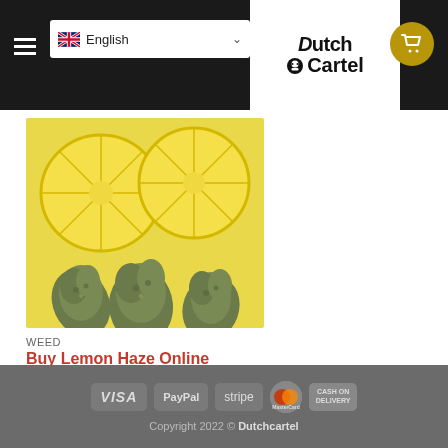English | Dutch Cartel logo | Cart button
[Figure (photo): Product photo showing sliced lemons and cannabis buds on a yellow background]
WEED
Buy Lemon Haze Online
€135.00 – €1,220.00
VISA  PayPal  stripe  MasterCard  CASH ON DELIVERY | Copyright 2022 © Dutchcartel